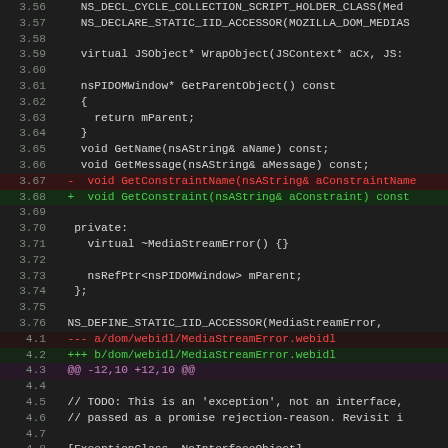Code diff showing C++ and WebIDL changes for MediaStreamError
3.56  NS_DECL_CYCLE_COLLECTION_SCRIPT_HOLDER_CLASS(Med
3.57  NS_DECLARE_STATIC_IID_ACCESSOR(MOZILLA_DOM_MEDIAS
3.58  (blank)
3.59  virtual JSObject* WrapObject(JSContext* aCx, JS:
3.60  (blank)
3.61  nsPIDOMWindow* GetParentObject() const
3.62  {
3.63    return mParent;
3.64  }
3.65  void GetName(nsAString& aName) const;
3.66  void GetMessage(nsAString& aMessage) const;
3.67  - void GetConstraintName(nsAString& aConstraintName
3.68  + void GetConstraint(nsAString& aConstraint) const
3.69  (blank)
3.70  private:
3.71    virtual ~MediaStreamError() {}
3.72  (blank)
3.73    nsRefPtr<nsPIDOMWindow> mParent;
3.74  };
3.75  (blank)
3.76   NS_DEFINE_STATIC_IID_ACCESSOR(MediaStreamError,
4.1  --- a/dom/webidl/MediaStreamError.webidl
4.2  +++ b/dom/webidl/MediaStreamError.webidl
4.3  @@ -12,10 +12,10 @@
4.4  (blank)
4.5   // TODO: This is an 'exception', not an interface,
4.6   // passed as a promise rejection-reason. Revisit i
4.7  (blank)
4.8   [ExceptionClass, NoInterfaceObject]
4.9   interface MediaStreamError {
4.10    readonly attribute DOMString  name;
4.11    readonly attribute DOMString? message;